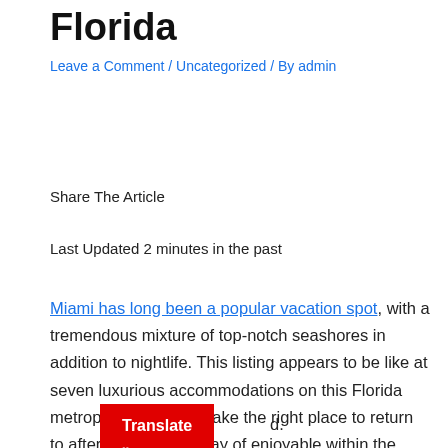Florida
Leave a Comment / Uncategorized / By admin
Share The Article
Last Updated 2 minutes in the past
Miami has long been a popular vacation spot, with a tremendous mixture of top-notch seashores in addition to nightlife. This listing appears to be like at seven luxurious accommodations on this Florida metropolis that may make the right place to return to after an extended day of enjoyable within the solar. Hotels had been chosen based mostly on a mixture of their evaluations and star-rating on reserving.com in addition to the number of facilities and d.